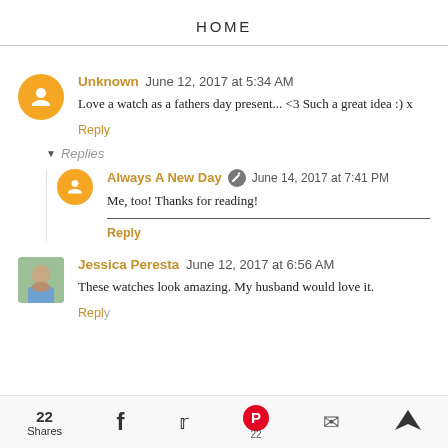HOME
Unknown June 12, 2017 at 5:34 AM
Love a watch as a fathers day present... <3 Such a great idea :) x
Reply
Replies
Always A New Day June 14, 2017 at 7:41 PM
Me, too! Thanks for reading!
Reply
Jessica Peresta June 12, 2017 at 6:56 AM
These watches look amazing. My husband would love it.
Reply